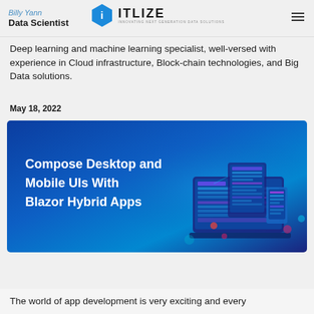Billy Yann | Data Scientist | ITLIZE — Innovating Next Generation Data Solutions
Deep learning and machine learning specialist, well-versed with experience in Cloud infrastructure, Block-chain technologies, and Big Data solutions.
May 18, 2022
[Figure (illustration): Hero banner image with blue gradient background showing text 'Compose Desktop and Mobile UIs With Blazor Hybrid Apps' on the left and a stylized illustration of devices (laptop, tablet, phone) with glowing purple/blue UI elements on the right.]
The world of app development is very exciting and every